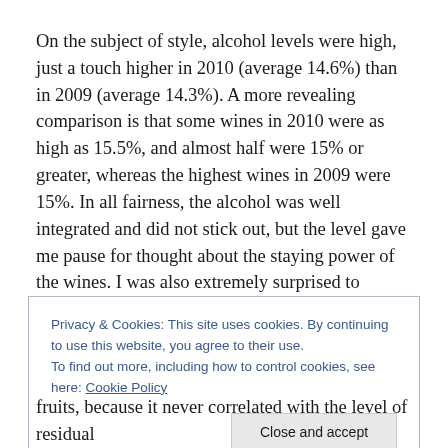On the subject of style, alcohol levels were high, just a touch higher in 2010 (average 14.6%) than in 2009 (average 14.3%). A more revealing comparison is that some wines in 2010 were as high as 15.5%, and almost half were 15% or greater, whereas the highest wines in 2009 were 15%. In all fairness, the alcohol was well integrated and did not stick out, but the level gave me pause for thought about the staying power of the wines. I was also extremely surprised to discover that some wines
Privacy & Cookies: This site uses cookies. By continuing to use this website, you agree to their use.
To find out more, including how to control cookies, see here: Cookie Policy
Close and accept
fruits, because it never correlated with the level of residual